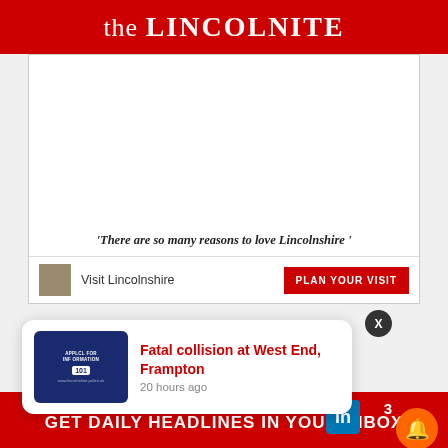the LINCOLNITE
[Figure (screenshot): Advertisement block for Visit Lincolnshire with white background and quote text]
'There are so many reasons to love Lincolnshire'
Visit Lincolnshire
PLAN YOUR VISIT
Fatal collision at West End, Frampton
20 hours ago
GET DAILY HEADLINES IN YOUR INBOX